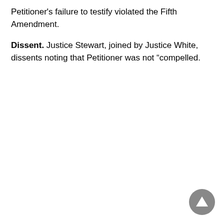Petitioner's failure to testify violated the Fifth Amendment.
Dissent. Justice Stewart, joined by Justice White, dissents noting that Petitioner was not “compelled.